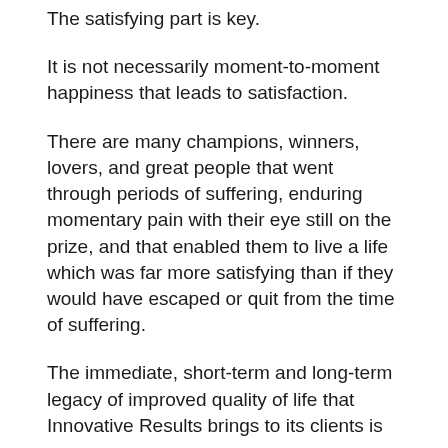The satisfying part is key.
It is not necessarily moment-to-moment happiness that leads to satisfaction.
There are many champions, winners, lovers, and great people that went through periods of suffering, enduring momentary pain with their eye still on the prize, and that enabled them to live a life which was far more satisfying than if they would have escaped or quit from the time of suffering.
The immediate, short-term and long-term legacy of improved quality of life that Innovative Results brings to its clients is